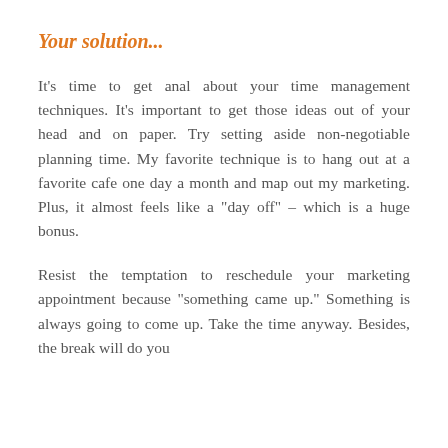Your solution...
It’s time to get anal about your time management techniques. It’s important to get those ideas out of your head and on paper. Try setting aside non-negotiable planning time. My favorite technique is to hang out at a favorite cafe one day a month and map out my marketing. Plus, it almost feels like a “day off” – which is a huge bonus.
Resist the temptation to reschedule your marketing appointment because “something came up.” Something is always going to come up. Take the time anyway. Besides, the break will do you